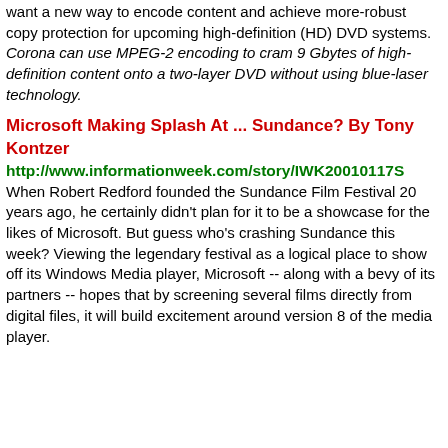want a new way to encode content and achieve more-robust copy protection for upcoming high-definition (HD) DVD systems. Corona can use MPEG-2 encoding to cram 9 Gbytes of high-definition content onto a two-layer DVD without using blue-laser technology.
Microsoft Making Splash At ... Sundance? By Tony Kontzer
http://www.informationweek.com/story/IWK20010117S
When Robert Redford founded the Sundance Film Festival 20 years ago, he certainly didn't plan for it to be a showcase for the likes of Microsoft. But guess who's crashing Sundance this week? Viewing the legendary festival as a logical place to show off its Windows Media player, Microsoft -- along with a bevy of its partners -- hopes that by screening several films directly from digital files, it will build excitement around version 8 of the media player.